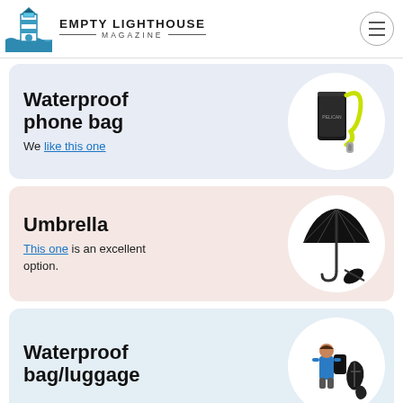Empty Lighthouse Magazine
Waterproof phone bag
We like this one
Umbrella
This one is an excellent option.
Waterproof bag/luggage